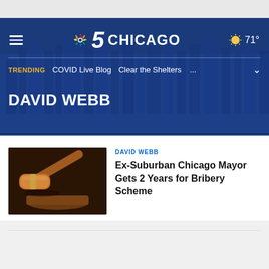[Figure (screenshot): NBC 5 Chicago website header banner with dark blue background showing city skyline, hamburger menu, NBC 5 Chicago logo, and 71° weather]
NBC 5 CHICAGO
TRENDING  COVID Live Blog  Clear the Shelters  ...
DAVID WEBB
[Figure (photo): Wooden judge's gavel resting on a sound block, close-up shot with dark brown tones]
DAVID WEBB
Ex-Suburban Chicago Mayor Gets 2 Years for Bribery Scheme